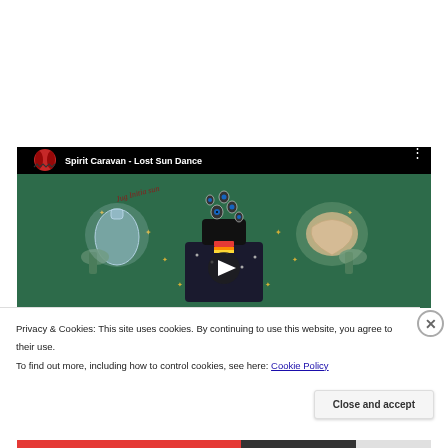[Figure (screenshot): YouTube embedded video thumbnail showing 'Spirit Caravan - Lost Sun Dance' with psychedelic album artwork featuring a figure with outstretched arms holding objects, multiple eyes, green background. Video has black top bar with channel icon and title.]
Privacy & Cookies: This site uses cookies. By continuing to use this website, you agree to their use.
To find out more, including how to control cookies, see here: Cookie Policy
Close and accept